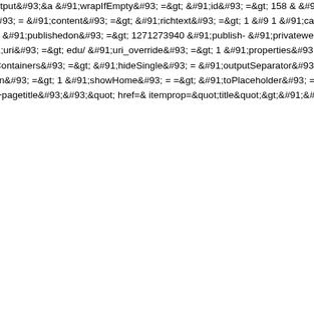&lt;li class=&quot;breadcrumb-item disabled&quot;&gt;&a class=&quot;crumb&quot;&gt;&#91;&#91;+output&#93;&a &#91;wrapIfEmpty&#93; =&gt; &#91;id&#93; =&gt; 158 &amp; &#91;longtitle&#93; =&gt; &#91;description&#93; =&gt; &amp; 1 &#91;pub_date&#93; =&gt; 0 &#91;unpub_date&#93; = &#91;content&#93; =&gt; &#91;richtext&#93; =&gt; 1 &#91; 1 &#91;cacheable&#93; =&gt; 1 &#91;createdby&#93; =&amp; &#91;editedon&#93; =&gt; 1480350762 &#91;deleted&#93; &#91;publishedon&#93; =&gt; 1271273940 &#91;publish &#91;privateweb&#93; =&gt; 0 &#91;privatemgr&#93; =&amp; &#91;class_key&#93; =&gt; MODX\Revolution\modDocu &#91;uri&#93; =&gt; edu/ &#91;uri_override&#93; =&gt; 1 &#91;properties&#93; =&gt; &#91;alias_visible&#93; =&g &#91;customParents&#93; =&gt; &#91;direction&#93; =&amp; &#91;hideContainers&#93; =&gt; &#91;hideSingle&#93; = &#91;outputSeparator&#93; =&gt; &lt;small&gt; / &lt;/sma &#91;scheme&#93; =&gt; &#91;showAtHome&#93; =&gt; &#91;showHidden&#93; =&gt; 1 &#91;showHome&#93; = =&gt; &#91;toPlaceholder&#93; =&gt; &#91;tpl&#93; =&g itemscope=&quot;itemscope&quot; itemtype=&quot;http:/ rel=&quot;&#91;&#91;+pagetitle&#93;&#93;&quot; href=&amp; itemprop=&quot;title&quot;&gt;&#91;&#91;+pagetitle&#93; class=&quot;active&quot; itemscope=&quot;itemscope&quot;&d